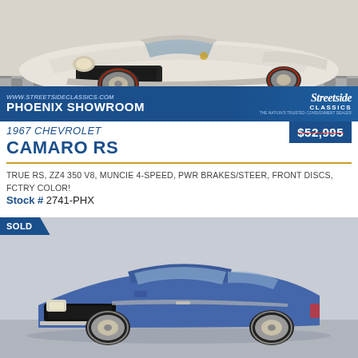[Figure (photo): White 1967 Chevrolet Camaro RS photographed from the front-left angle in a showroom with checkered floor]
WWW.STREETSIDECLASSICS.COM
PHOENIX SHOWROOM
Streetside CLASSICS
1967 CHEVROLET
$52,995
CAMARO RS
TRUE RS, ZZ4 350 V8, MUNCIE 4-SPEED, PWR BRAKES/STEER, FRONT DISCS, FCTRY COLOR!
Stock # 2741-PHX
[Figure (photo): Blue 1967 Chevrolet Camaro RS photographed from the front-right angle in a showroom, with SOLD badge]